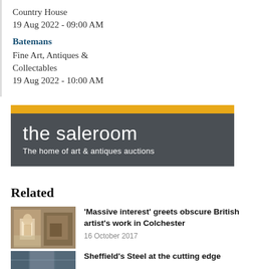Country House
19 Aug 2022 - 09:00 AM
Batemans
Fine Art, Antiques & Collectables
19 Aug 2022 - 10:00 AM
[Figure (logo): The saleroom logo banner: yellow strip on top, dark grey background with white text 'the saleroom' and tagline 'The home of art & antiques auctions']
Related
'Massive interest' greets obscure British artist's work in Colchester
16 October 2017
Sheffield's Steel at the cutting edge